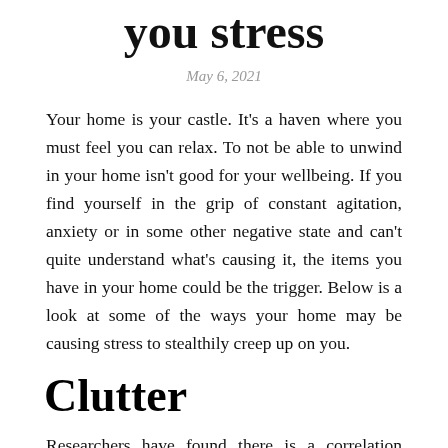you stress
May 6, 2021
Your home is your castle. It's a haven where you must feel you can relax. To not be able to unwind in your home isn't good for your wellbeing. If you find yourself in the grip of constant agitation, anxiety or in some other negative state and can't quite understand what's causing it, the items you have in your home could be the trigger. Below is a look at some of the ways your home may be causing stress to stealthily creep up on you.
Clutter
Researchers have found there is a correlation between a high density of household objects and high stress hormone levels. Stacks of papers, piles of toys and even a sink full of dirty dishes can be enough to push them up, so if you've